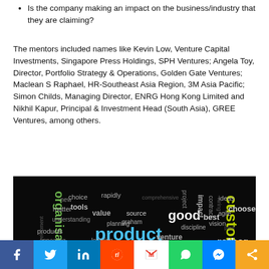Is the company making an impact on the business/industry that they are claiming?
The mentors included names like Kevin Low, Venture Capital Investments, Singapore Press Holdings, SPH Ventures; Angela Toy, Director, Portfolio Strategy & Operations, Golden Gate Ventures; Maclean S Raphael, HR-Southeast Asia Region, 3M Asia Pacific; Simon Childs, Managing Director, ENRG Hong Kong Limited and Nikhil Kapur, Principal & Investment Head (South Asia), GREE Ventures, among others.
[Figure (infographic): Word cloud on black background featuring startup-related words. Largest words include 'startups' in yellow-green, 'product', 'customer', 'software', 'people', 'organisations', 'good', 'rather', and many smaller words in white, blue, and green.]
[Figure (infographic): Social media sharing bar with icons for Facebook (blue), Twitter (light blue), LinkedIn (blue), Reddit (orange/red), Gmail (red/white M), WhatsApp (green), Messenger (blue), and a share icon (orange).]